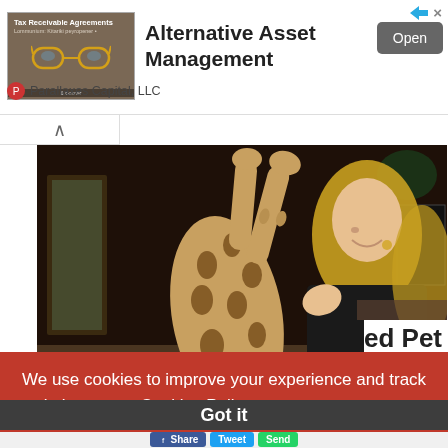[Figure (screenshot): Advertisement banner for 'Alternative Asset Management' by Parallaxes Capital, LLC with a book thumbnail showing glasses and a dark background, an Open button on the right, and a close (X) icon at top right.]
[Figure (photo): Photo of a large spotted exotic cat (likely a Savannah or Serval cat) standing on its hind legs reaching up, with a blonde woman in a dark outfit smiling in the background, taken in a home interior setting.]
ed Pet
We use cookies to improve your experience and track website usage  Cookies Policy
Got it
Share   Tweet   Send